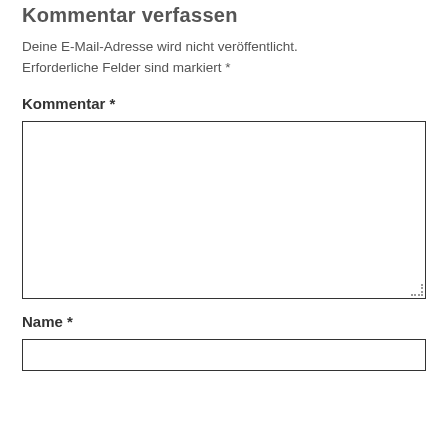Kommentar verfassen
Deine E-Mail-Adresse wird nicht veröffentlicht. Erforderliche Felder sind markiert *
Kommentar *
[Figure (other): Empty textarea input box for comment]
Name *
[Figure (other): Empty text input box for name]